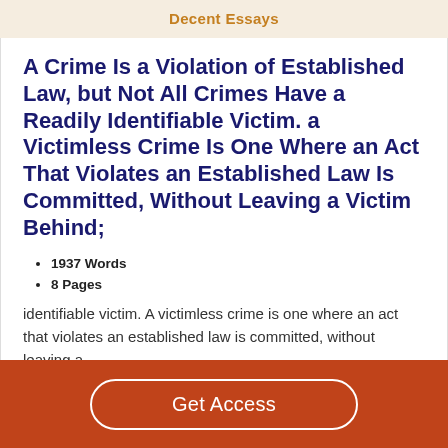Decent Essays
A Crime Is a Violation of Established Law, but Not All Crimes Have a Readily Identifiable Victim. a Victimless Crime Is One Where an Act That Violates an Established Law Is Committed, Without Leaving a Victim Behind;
1937 Words
8 Pages
identifiable victim. A victimless crime is one where an act that violates an established law is committed, without leaving a
Get Access